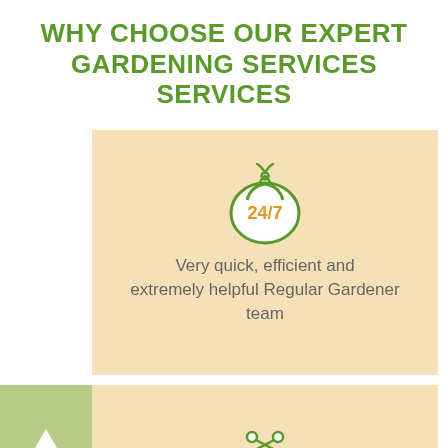WHY CHOOSE OUR EXPERT GARDENING SERVICES SERVICES
[Figure (illustration): Green outlined bag icon with '24/7' text in orange inside, representing 24/7 availability]
Very quick, efficient and extremely helpful Regular Gardener team
[Figure (illustration): Green outlined purse/wallet icon with scissors on top and orange lines inside, representing gardening tools or pricing]